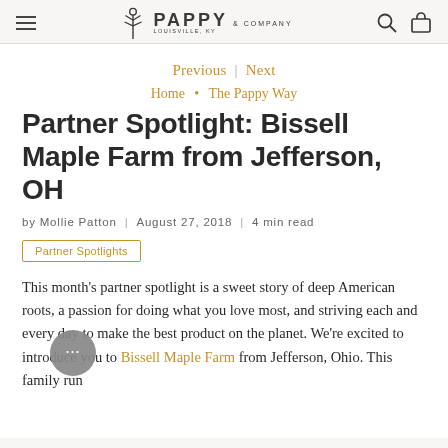PAPPY & COMPANY LOUISVILLE, KY
Previous | Next
Home • The Pappy Way
Partner Spotlight: Bissell Maple Farm from Jefferson, OH
by Mollie Patton  |  August 27, 2018  |  4 min read
Partner Spotlights
This month's partner spotlight is a sweet story of deep American roots, a passion for doing what you love most, and striving each and every day to make the best product on the planet. We're excited to introduce you to Bissell Maple Farm from Jefferson, Ohio. This family run